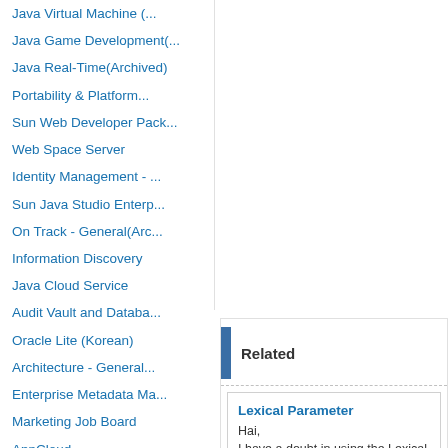Java Virtual Machine (...
Java Game Development(...
Java Real-Time(Archived)
Portability & Platform...
Sun Web Developer Pack...
Web Space Server
Identity Management - ...
Sun Java Studio Enterp...
On Track - General(Arc...
Information Discovery
Java Cloud Service
Audit Vault and Databa...
Oracle Lite (Korean)
Architecture - General...
Enterprise Metadata Ma...
Marketing Job Board
AppCloud
Eloqua Digital Adverti...
Philadelphia PA Eloqua...
SFDC Integration
Pittsburgh, PA Eloqua ...
Eloqua Users with Orac...
Related
Lexical Parameter
Hai,
I have a doubt in using the Lexical Pa...